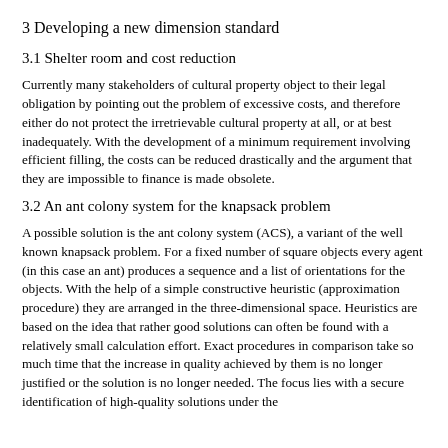3 Developing a new dimension standard
3.1 Shelter room and cost reduction
Currently many stakeholders of cultural property object to their legal obligation by pointing out the problem of excessive costs, and therefore either do not protect the irretrievable cultural property at all, or at best inadequately. With the development of a minimum requirement involving efficient filling, the costs can be reduced drastically and the argument that they are impossible to finance is made obsolete.
3.2 An ant colony system for the knapsack problem
A possible solution is the ant colony system (ACS), a variant of the well known knapsack problem. For a fixed number of square objects every agent (in this case an ant) produces a sequence and a list of orientations for the objects. With the help of a simple constructive heuristic (approximation procedure) they are arranged in the three-dimensional space. Heuristics are based on the idea that rather good solutions can often be found with a relatively small calculation effort. Exact procedures in comparison take so much time that the increase in quality achieved by them is no longer justified or the solution is no longer needed. The focus lies with a secure identification of high-quality solutions under the